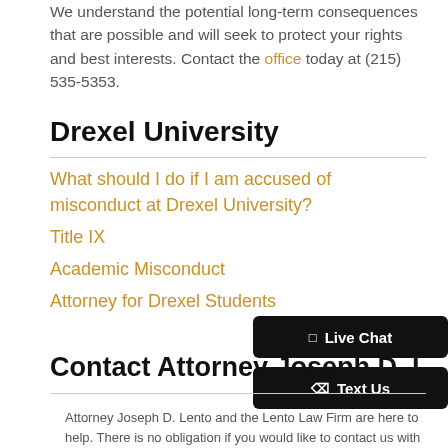We understand the potential long-term consequences that are possible and will seek to protect your rights and best interests. Contact the office today at (215) 535-5353.
Drexel University
What should I do if I am accused of misconduct at Drexel University?
Title IX
Academic Misconduct
Attorney for Drexel Students
Contact Attorney Joseph D. Le...
Attorney Joseph D. Lento and the Lento Law Firm are here to help. There is no obligation if you would like to contact us with any questions or concerns regarding your or your loved one's issue. We will promptly